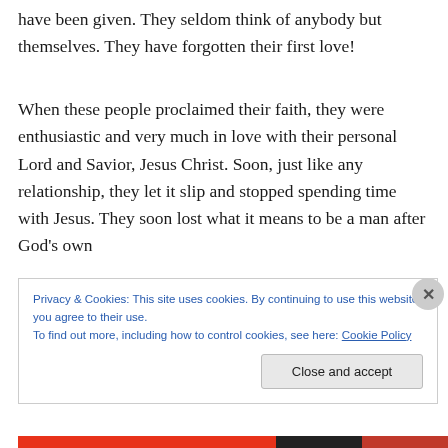have been given. They seldom think of anybody but themselves. They have forgotten their first love!
When these people proclaimed their faith, they were enthusiastic and very much in love with their personal Lord and Savior, Jesus Christ. Soon, just like any relationship, they let it slip and stopped spending time with Jesus. They soon lost what it means to be a man after God's own
Privacy & Cookies: This site uses cookies. By continuing to use this website, you agree to their use.
To find out more, including how to control cookies, see here: Cookie Policy
Close and accept